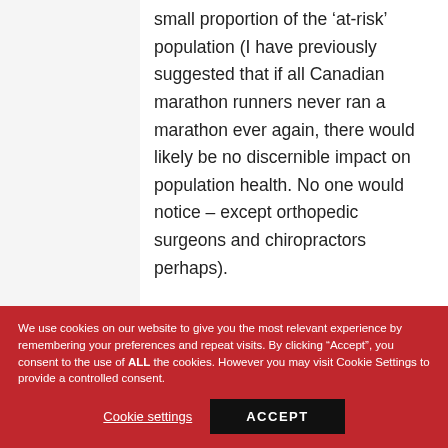small proportion of the 'at-risk' population (I have previously suggested that if all Canadian marathon runners never ran a marathon ever again, there would likely be no discernible impact on population health. No one would notice – except orthopedic surgeons and chiropractors perhaps).

Just how irrelevant leisure-time physical activity actually is for
We use cookies on our website to give you the most relevant experience by remembering your preferences and repeat visits. By clicking "Accept", you consent to the use of ALL the cookies. However you may visit Cookie Settings to provide a controlled consent.